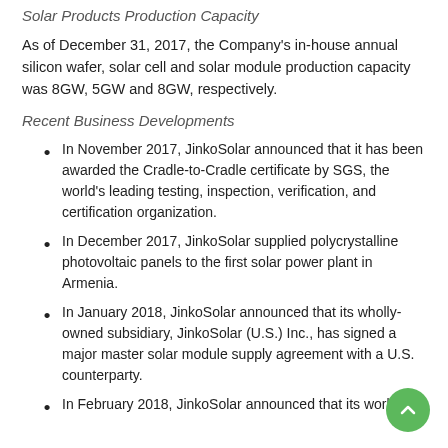Solar Products Production Capacity
As of December 31, 2017, the Company's in-house annual silicon wafer, solar cell and solar module production capacity was 8GW, 5GW and 8GW, respectively.
Recent Business Developments
In November 2017, JinkoSolar announced that it has been awarded the Cradle-to-Cradle certificate by SGS, the world's leading testing, inspection, verification, and certification organization.
In December 2017, JinkoSolar supplied polycrystalline photovoltaic panels to the first solar power plant in Armenia.
In January 2018, JinkoSolar announced that its wholly-owned subsidiary, JinkoSolar (U.S.) Inc., has signed a major master solar module supply agreement with a U.S. counterparty.
In February 2018, JinkoSolar announced that its world…